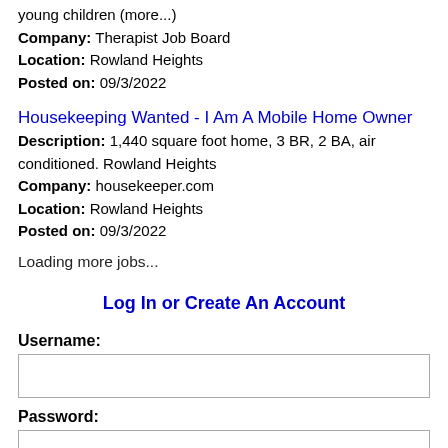young children (more...)
Company: Therapist Job Board
Location: Rowland Heights
Posted on: 09/3/2022
Housekeeping Wanted - I Am A Mobile Home Owner
Description: 1,440 square foot home, 3 BR, 2 BA, air conditioned. Rowland Heights
Company: housekeeper.com
Location: Rowland Heights
Posted on: 09/3/2022
Loading more jobs...
Log In or Create An Account
Username:
Password: